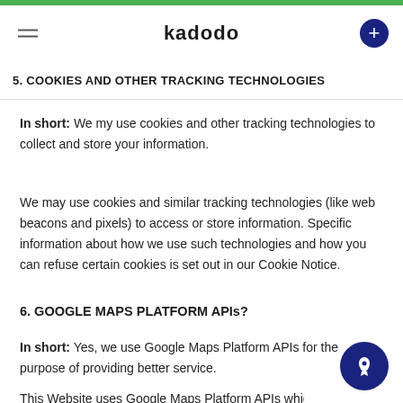kadodo
5. COOKIES AND OTHER TRACKING TECHNOLOGIES
In short: We my use cookies and other tracking technologies to collect and store your information.
We may use cookies and similar tracking technologies (like web beacons and pixels) to access or store information. Specific information about how we use such technologies and how you can refuse certain cookies is set out in our Cookie Notice.
6. GOOGLE MAPS PLATFORM APIs?
In short: Yes, we use Google Maps Platform APIs for the purpose of providing better service.
This Website uses Google Maps Platform APIs which